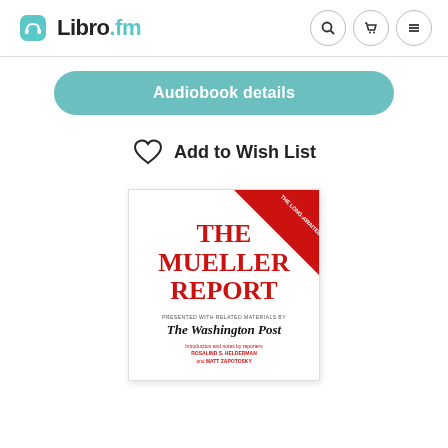[Figure (logo): Libro.fm logo with teal headphone icon and text 'Libro.fm']
[Figure (other): Navigation icons: search magnifying glass, shopping cart, and hamburger menu — each in a circular outline button]
[Figure (other): Teal rounded button labeled 'Audiobook details']
Add to Wish List
[Figure (other): Book cover for 'The Mueller Report' presented by The Washington Post. Red title text on white background with red diagonal ribbon banner in top-right corner. Subtitle: 'Presented with Related Materials by The Washington Post. Introduction and notes by reporters Rosalind S. Helderman and Matt Zapotosky.']